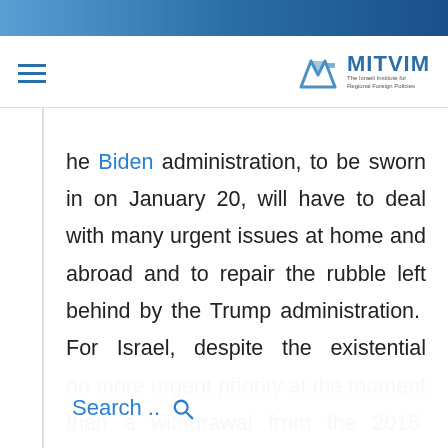MITVIM — The Israeli Institute for Regional Foreign Policies
he Biden administration, to be sworn in on January 20, will have to deal with many urgent issues at home and abroad and to repair the rubble left behind by the Trump administration. For Israel, despite the existential importance of reaching a two-state solution with the Palestinians and preventing a binational catastrophe, there is
no more urgent priority at the moment than a withdrawal from the 2015 nuclear agreement